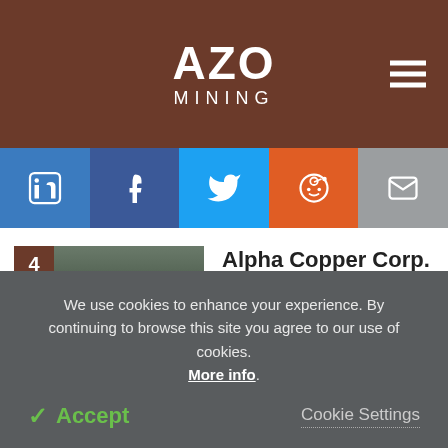AZO MINING
[Figure (logo): AZO Mining logo with white bold text on dark brown background]
[Figure (infographic): Social sharing bar with LinkedIn, Facebook, Twitter, Reddit, and Email icons]
[Figure (photo): Mining site with heavy equipment, numbered 4]
Alpha Copper Corp. Plans to Buy Shares of CAVU Energy Metals Corp.
[Figure (photo): Aerial map view of Vallee Lithium Project, numbered 5]
Jourdan’s Flagship Vallee Lithium Project Commences
We use cookies to enhance your experience. By continuing to browse this site you agree to our use of cookies. More info.
✓ Accept
Cookie Settings